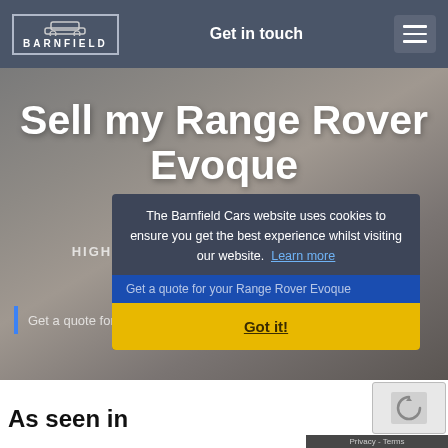[Figure (logo): Barnfield Cars logo with car icon outline and text BARNFIELD in white, bordered box on dark grey header]
Get in touch
[Figure (illustration): Hamburger menu icon (three horizontal lines) in grey rounded box]
Sell my Range Rover Evoque
HIGHEST OFFER  ·  WE COLLECT HSBC
SECURE TRANSFER
The Barnfield Cars website uses cookies to ensure you get the best experience whilst visiting our website.  Learn more
Get a quote for your Range Rover Evoque
Got it!
As seen in
Privacy - Terms